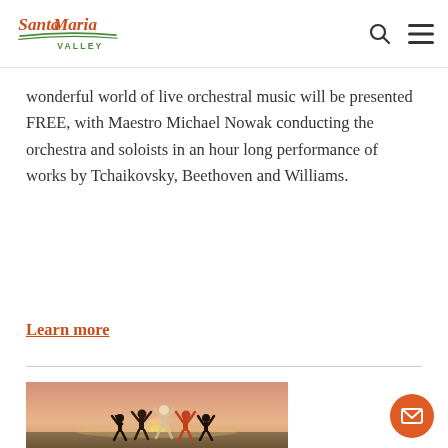Santa Maria Valley
wonderful world of live orchestral music will be presented FREE, with Maestro Michael Nowak conducting the orchestra and soloists in an hour long performance of works by Tchaikovsky, Beethoven and Williams.
Learn more
[Figure (photo): People jumping with arms raised at sunset in an outdoor field, silhouetted against a warm pink-orange sky.]